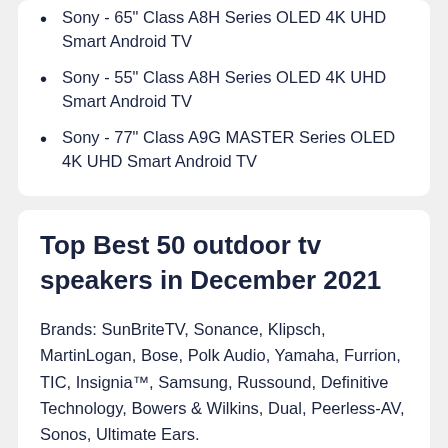Sony - 65" Class A8H Series OLED 4K UHD Smart Android TV
Sony - 55" Class A8H Series OLED 4K UHD Smart Android TV
Sony - 77" Class A9G MASTER Series OLED 4K UHD Smart Android TV
Top Best 50 outdoor tv speakers in December 2021
Brands: SunBriteTV, Sonance, Klipsch, MartinLogan, Bose, Polk Audio, Yamaha, Furrion, TIC, Insignia™, Samsung, Russound, Definitive Technology, Bowers & Wilkins, Dual, Peerless-AV, Sonos, Ultimate Ears.